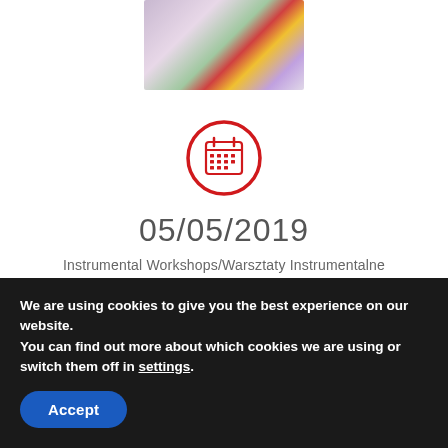[Figure (photo): Person holding a colorful flower bouquet with red, yellow, and purple flowers with green foliage, cropped to show the bouquet and hands.]
[Figure (other): Red calendar icon inside a red circle outline.]
05/05/2019
Instrumental Workshops/Warsztaty Instrumentalne
We are using cookies to give you the best experience on our website.
You can find out more about which cookies we are using or switch them off in settings.
Accept